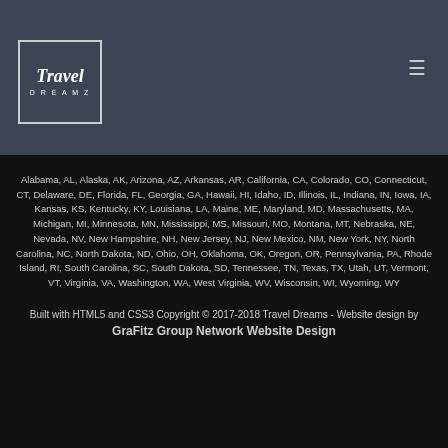[Figure (logo): Travel Dreamz logo - white script text inside a bordered box]
Alabama, AL, Alaska, AK, Arizona, AZ, Arkansas, AR, California, CA, Colorado, CO, Connecticut, CT, Delaware, DE, Florida, FL, Georgia, GA, Hawaii, HI, Idaho, ID, Illinois, IL, Indiana, IN, Iowa, IA, Kansas, KS, Kentucky, KY, Louisiana, LA, Maine, ME, Maryland, MD, Massachusetts, MA, Michigan, MI, Minnesota, MN, Mississippi, MS, Missouri, MO, Montana, MT, Nebraska, NE, Nevada, NV, New Hampshire, NH, New Jersey, NJ, New Mexico, NM, New York, NY, North Carolina, NC, North Dakota, ND, Ohio, OH, Oklahoma, OK, Oregon, OR, Pennsylvania, PA, Rhode Island, RI, South Carolina, SC, South Dakota, SD, Tennessee, TN, Texas, TX, Utah, UT, Vermont, VT, Virginia, VA, Washington, WA, West Virginia, WV, Wisconsin, WI, Wyoming, WY
Built with HTML5 and CSS3 Copyright © 2017-2018 Travel Dreams - Website design by GraFitz Group Network Website Design